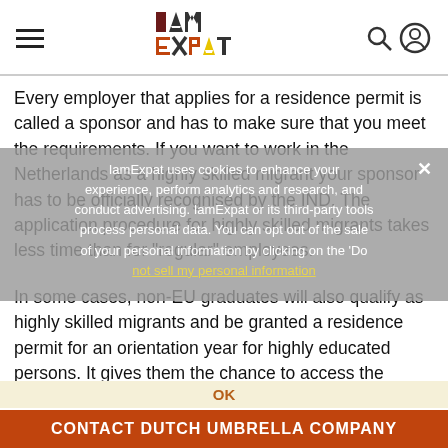IamExpat (logo) with hamburger menu and search/account icons
Every employer that applies for a residence permit is called a sponsor and has to make sure that you meet the requirements. If you want to work in the Netherlands as a highly skilled migrant your sponsor has to be officially recognised by the IND. The application procedure for highly skilled migrants takes less time than for "regular" employees.
IamExpat uses cookies to enhance your experience, perform analytics and research, and conduct advertising. IamExpat or its third-party tools process personal data. You can opt out of the sale of your personal information by clicking on the 'Do not sell my personal information' link.
In some cases, non-EU graduates will also qualify as highly skilled migrants and be granted a residence permit for an orientation year for highly educated persons. It gives them the chance to access the Dutch labour market without the additional work permit.
OK
CONTACT DUTCH UMBRELLA COMPANY